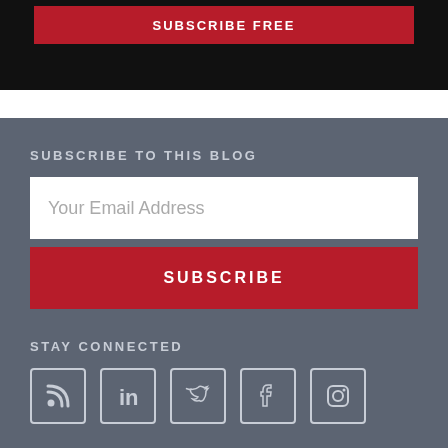[Figure (screenshot): Top black bar with a red button labeled SUBSCRIBE FREE]
SUBSCRIBE TO THIS BLOG
Your Email Address
SUBSCRIBE
STAY CONNECTED
[Figure (infographic): Social media icons: RSS, LinkedIn, Twitter, Facebook, Instagram]
TOPICS